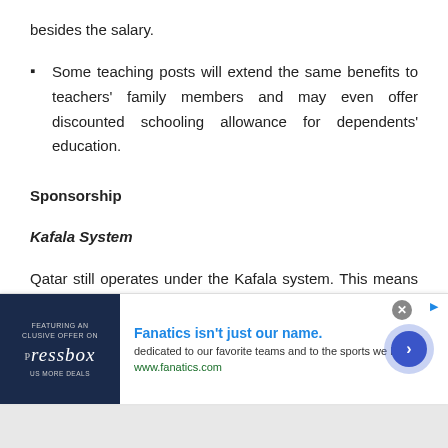besides the salary.
Some teaching posts will extend the same benefits to teachers' family members and may even offer discounted schooling allowance for dependents' education.
Sponsorship
Kafala System
Qatar still operates under the Kafala system. This means every person in the country must be sponsored by an employer, organization, or even a spouse or
[Figure (other): Advertisement banner for Fanatics featuring Pressbox logo and text 'Fanatics isn't just our name. dedicated to our favorite teams and to the sports we love. www.fanatics.com']